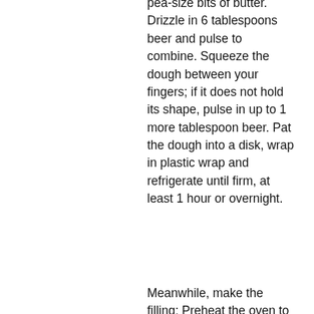pea-size bits of butter. Drizzle in 6 tablespoons beer and pulse to combine. Squeeze the dough between your fingers; if it does not hold its shape, pulse in up to 1 more tablespoon beer. Pat the dough into a disk, wrap in plastic wrap and refrigerate until firm, at least 1 hour or overnight.
Meanwhile, make the filling: Preheat the oven to 325 degrees F. Toss the beef, flour, 1-1/4 teaspoons kosher salt, and pepper to taste in a large bowl. Melt the butter in a Dutch oven or large ovenproof pot over medium-high heat. Add the beef and cook, stirring occasionally, until browned all over, about 7 minutes. Add the beer and 2 cups water, scraping up any browned bits from the bottom of the pot. Bring to a simmer, then cover, transfer to the oven and braise, 30 minutes. Add the leeks, carrots and